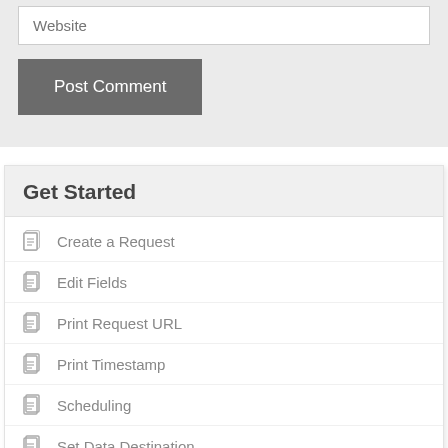[Figure (screenshot): Website input text field with placeholder text 'Website']
[Figure (screenshot): Post Comment button, dark gray background with white text]
Get Started
Create a Request
Edit Fields
Print Request URL
Print Timestamp
Scheduling
Set Data Destination